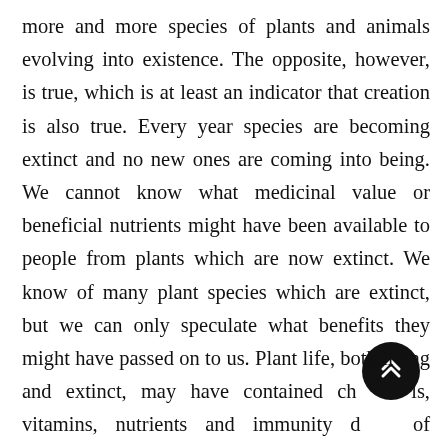more and more species of plants and animals evolving into existence. The opposite, however, is true, which is at least an indicator that creation is also true. Every year species are becoming extinct and no new ones are coming into being. We cannot know what medicinal value or beneficial nutrients might have been available to people from plants which are now extinct. We know of many plant species which are extinct, but we can only speculate what benefits they might have passed on to us. Plant life, both living and extinct, may have contained chemicals, vitamins, nutrients and immunity defenses of which we are not even aware today.